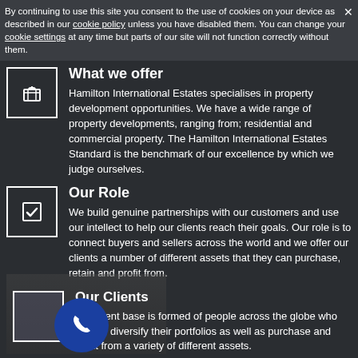By continuing to use this site you consent to the use of cookies on your device as described in our cookie policy unless you have disabled them. You can change your cookie settings at any time but parts of our site will not function correctly without them.
What we offer
Hamilton International Estates specialises in property development opportunities. We have a wide range of property developments, ranging from; residential and commercial property. The Hamilton International Estates Standard is the benchmark of our excellence by which we judge ourselves.
Our Role
We build genuine partnerships with our customers and use our intellect to help our clients reach their goals. Our role is to connect buyers and sellers across the world and we offer our clients a number of different assets that they can purchase, retain and profit from.
Our Clients
Our client base is formed of people across the globe who wish to diversify their portfolios as well as purchase and profit from a variety of different assets.